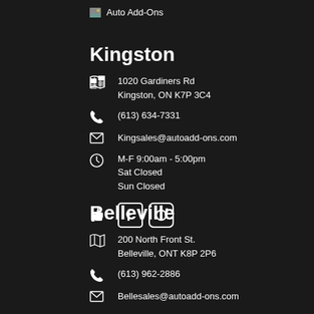Auto Add-Ons
Kingston
1020 Gardiners Rd
Kingston, ON K7P 3C4
(613) 634-7331
Kingsales@autoadd-ons.com
M-F 9:00am - 5:00pm
Sat Closed
Sun Closed
[Figure (illustration): Social media icons: thumbs-up, Facebook, Instagram]
Belleville
200 North Front St.
Belleville, ONT K8P 2P6
(613) 962-2886
Bellesales@autoadd-ons.com